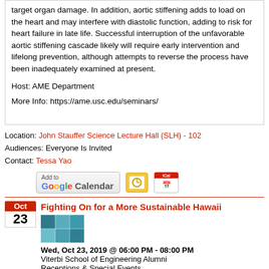target organ damage. In addition, aortic stiffening adds to load on the heart and may interfere with diastolic function, adding to risk for heart failure in late life. Successful interruption of the unfavorable aortic stiffening cascade likely will require early intervention and lifelong prevention, although attempts to reverse the process have been inadequately examined at present.

Host: AME Department

More Info: https://ame.usc.edu/seminars/
Location: John Stauffer Science Lecture Hall (SLH) - 102
Audiences: Everyone Is Invited
Contact: Tessa Yao
[Figure (other): Add to Google Calendar button, Outlook calendar icon, iCal icon]
Fighting On for a More Sustainable Hawaii
[Figure (photo): Thumbnail photo collage of Hawaii scenes]
Wed, Oct 23, 2019 @ 06:00 PM - 08:00 PM
Viterbi School of Engineering Alumni
Receptions & Special Events